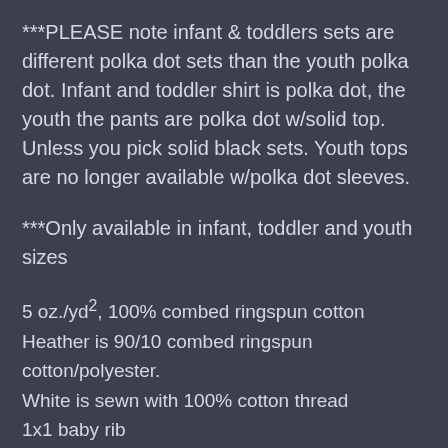***PLEASE note infant & toddlers sets are different polka dot sets than the youth polka dot. Infant and toddler shirt is polka dot, the youth the pants are polka dot w/solid top. Unless you pick solid black sets. Youth tops are no longer available w/polka dot sleeves.
***Only available in infant, toddler and youth sizes
5 oz./yd², 100% combed ringspun cotton
Heather is 90/10 combed ringspun cotton/polyester.
White is sewn with 100% cotton thread
1x1 baby rib
Flatlock stitched seams
3/4" double-needle covered elastic waistband
Rib band seam...